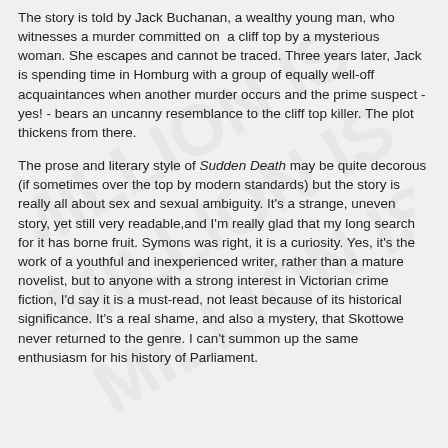The story is told by Jack Buchanan, a wealthy young man, who witnesses a murder committed on a cliff top by a mysterious woman. She escapes and cannot be traced. Three years later, Jack is spending time in Homburg with a group of equally well-off acquaintances when another murder occurs and the prime suspect - yes! - bears an uncanny resemblance to the cliff top killer. The plot thickens from there.
The prose and literary style of Sudden Death may be quite decorous (if sometimes over the top by modern standards) but the story is really all about sex and sexual ambiguity. It's a strange, uneven story, yet still very readable,and I'm really glad that my long search for it has borne fruit. Symons was right, it is a curiosity. Yes, it's the work of a youthful and inexperienced writer, rather than a mature novelist, but to anyone with a strong interest in Victorian crime fiction, I'd say it is a must-read, not least because of its historical significance. It's a real shame, and also a mystery, that Skottowe never returned to the genre. I can't summon up the same enthusiasm for his history of Parliament.